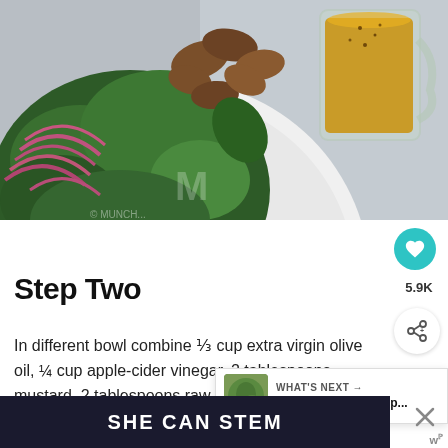[Figure (photo): Overhead view of a kale salad with red onions, pecans in a white bowl, alongside a glass pitcher of golden dressing on a grey background]
Step Two
In different bowl combine ⅓ cup extra virgin olive oil, ¼ cup apple-cider vinegar, 2 tablespoons mustard, 2 tablespoons raw honey, salt and pepper to taste. Whisk until everything is combined.
WHAT'S NEXT → Avocado Salad Recip...
SHE CAN STEM